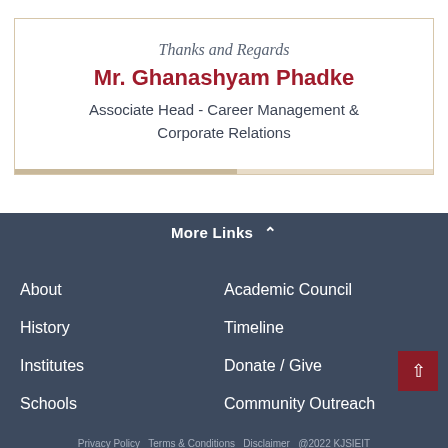Thanks and Regards
Mr. Ghanashyam Phadke
Associate Head - Career Management & Corporate Relations
More Links ^
About
Academic Council
History
Timeline
Institutes
Donate / Give
Schools
Community Outreach
Privacy Policy   Terms & Conditions   Disclaimer   @2022 KJSIEIT